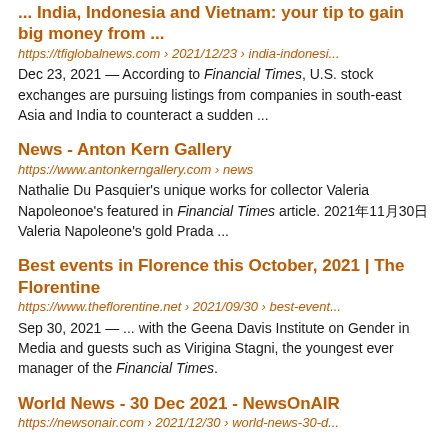... India, Indonesia and Vietnam: your tip to gain big money from ...
https://tfiglobalnews.com › 2021/12/23 › india-indonesi...
Dec 23, 2021 — According to Financial Times, U.S. stock exchanges are pursuing listings from companies in south-east Asia and India to counteract a sudden ...
News - Anton Kern Gallery
https://www.antonkerngallery.com › news
Nathalie Du Pasquier's unique works for collector Valeria Napoleonoe's featured in Financial Times article. 2021年11月30日 Valeria Napoleone's gold Prada ...
Best events in Florence this October, 2021 | The Florentine
https://www.theflorentine.net › 2021/09/30 › best-event...
Sep 30, 2021 — ... with the Geena Davis Institute on Gender in Media and guests such as Virigina Stagni, the youngest ever manager of the Financial Times.
World News - 30 Dec 2021 - NewsOnAIR
https://newsonair.com › 2021/12/30 › world-news-30-d...